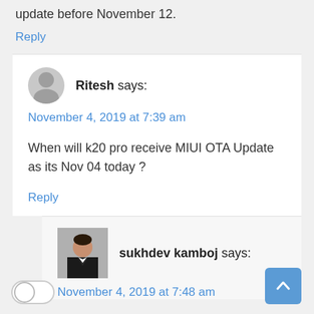update before November 12.
Reply
Ritesh says:
November 4, 2019 at 7:39 am
When will k20 pro receive MIUI OTA Update as its Nov 04 today ?
Reply
sukhdev kamboj says:
November 4, 2019 at 7:48 am